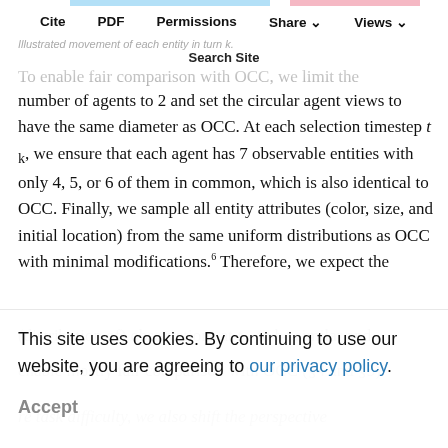Cite  PDF  Permissions  Share  Views
Illustrated movement of each entity in turn k.
Search Site
To enable fair comparison with OCC, we limit the number of agents to 2 and set the circular agent views to have the same diameter as OCC. At each selection timestep t_k, we ensure that each agent has 7 observable entities with only 4, 5, or 6 of them in common, which is also identical to OCC. Finally, we sample all entity attributes (color, size, and initial location) from the same uniform distributions as OCC with minimal modifications.^6 Therefore, we expect the
(distribution of) observations at t_k to be similar and enable mostly fair comparison with OCC (§4 and §5).
This site uses cookies. By continuing to use our website, you are agreeing to our privacy policy.
Accept
re task difficulty, we also shift the perspective